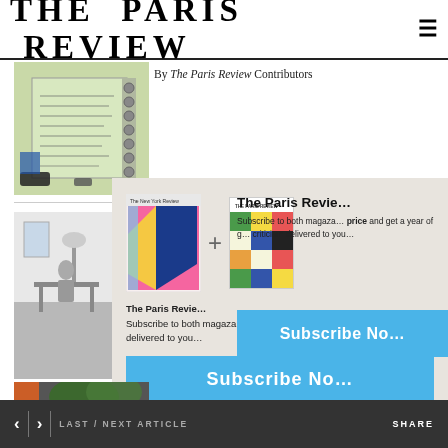THE PARIS REVIEW
[Figure (photo): Photo of a spiral notebook with handwritten notes on a desk]
By The Paris Review Contributors
[Figure (photo): Black and white photo of a minimalist room interior]
[Figure (infographic): Subscription modal overlay showing two magazine covers (The New York Review and The Paris Review) with a plus sign between them, subscription text, and a blue Subscribe Now button]
[Figure (photo): Partial photo of a person outdoors near trees with orange element]
< > LAST / NEXT ARTICLE    SHARE